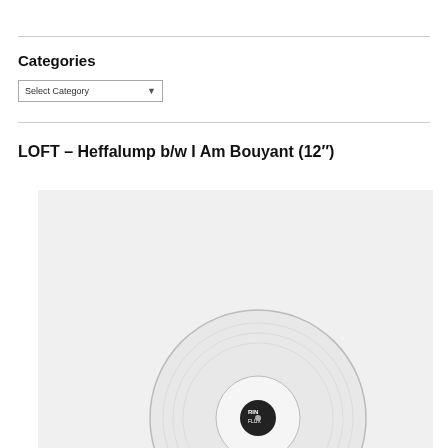Categories
Select Category
LOFT – Heffalump b/w I Am Bouyant (12″)
[Figure (photo): A white vinyl record partially visible against a light gray/white background, showing a circular center label with a logo.]